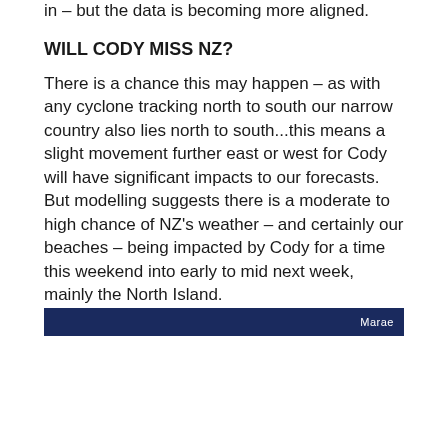in – but the data is becoming more aligned.
WILL CODY MISS NZ?
There is a chance this may happen – as with any cyclone tracking north to south our narrow country also lies north to south...this means a slight movement further east or west for Cody will have significant impacts to our forecasts. But modelling suggests there is a moderate to high chance of NZ's weather – and certainly our beaches – being impacted by Cody for a time this weekend into early to mid next week, mainly the North Island.
[Figure (photo): Dark blue banner strip with label 'Marae' in white text on right side]